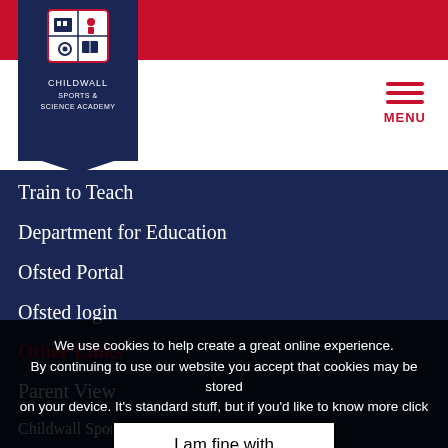[Figure (logo): Childwall Sports & Science Academy school crest/shield logo on dark navy background with red header bar and hamburger menu button]
Train to Teach
Department for Education
Ofsted Portal
Ofsted login
Other Links
Parent View
Liverpool LSCP
Careers
Policies
Educate Against Hate
Contact details
We use cookies to help create a great online experience. By continuing to use our website you accept that cookies may be stored on your device. It's standard stuff, but if you'd like to know more click Cookie Settings.
I am fine with this
Childwall Sports & Science Academy